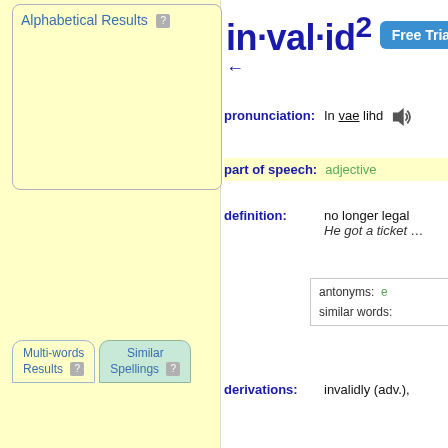Alphabetical Results
Multi-words Results  Similar Spellings
in·val·id²
Free Trial Su...
← (back arrow)
pronunciation:   In vae lihd 🔊
part of speech:   adjective
definition:   no longer legal   He got a ticket...
antonyms:  ...   similar words: ...
derivations:   invalidly (adv.),